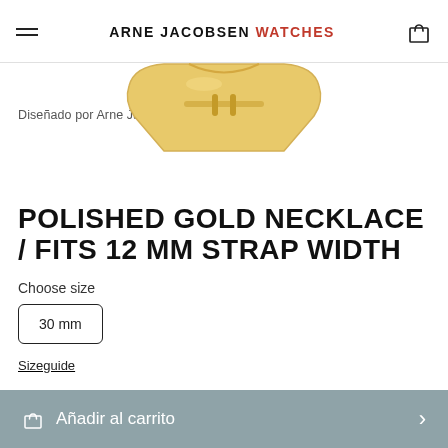ARNE JACOBSEN WATCHES
Diseñado por Arne Jacobsen
[Figure (photo): Gold polished watch buckle/clasp product photo on white background]
POLISHED GOLD NECKLACE / FITS 12 MM STRAP WIDTH
Choose size
30 mm
Sizeguide
35,00 €
Añadir al carrito